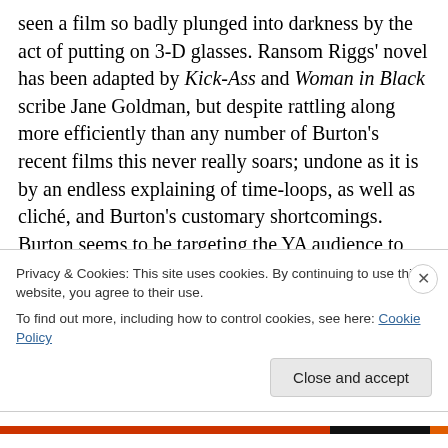seen a film so badly plunged into darkness by the act of putting on 3-D glasses. Ransom Riggs' novel has been adapted by Kick-Ass and Woman in Black scribe Jane Goldman, but despite rattling along more efficiently than any number of Burton's recent films this never really soars; undone as it is by an endless explaining of time-loops, as well as cliché, and Burton's customary shortcomings. Burton seems to be targeting the YA audience to restore his credit rating after Dark Shadows and Big Eyes, but he can't help himself. His love of the grotesque overcomes feigned interest in romance, and spurs him to depict
Privacy & Cookies: This site uses cookies. By continuing to use this website, you agree to their use.
To find out more, including how to control cookies, see here: Cookie Policy
Close and accept